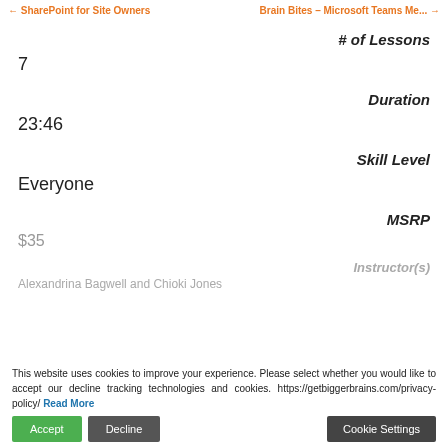← SharePoint for Site Owners | Brain Bites – Microsoft Teams Me... →
# of Lessons
7
Duration
23:46
Skill Level
Everyone
MSRP
$35
Instructor(s)
Alexandrina Bagwell and Chioki Jones
This website uses cookies to improve your experience. Please select whether you would like to accept our decline tracking technologies and cookies. https://getbiggerbrains.com/privacy-policy/ Read More